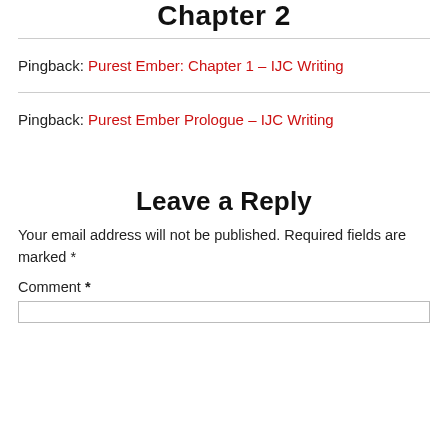Chapter 2
Pingback: Purest Ember: Chapter 1 – IJC Writing
Pingback: Purest Ember Prologue – IJC Writing
Leave a Reply
Your email address will not be published. Required fields are marked *
Comment *